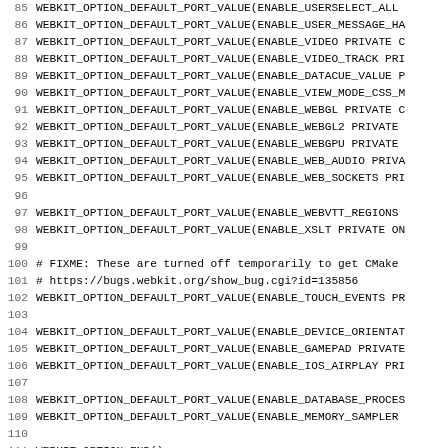Code listing lines 85-117, CMake WebKit options configuration file
85 WEBKIT_OPTION_DEFAULT_PORT_VALUE(ENABLE_USERSELECT_ALL...
86 WEBKIT_OPTION_DEFAULT_PORT_VALUE(ENABLE_USER_MESSAGE_HA...
87 WEBKIT_OPTION_DEFAULT_PORT_VALUE(ENABLE_VIDEO PRIVATE C...
88 WEBKIT_OPTION_DEFAULT_PORT_VALUE(ENABLE_VIDEO_TRACK PRI...
89 WEBKIT_OPTION_DEFAULT_PORT_VALUE(ENABLE_DATACUE_VALUE P...
90 WEBKIT_OPTION_DEFAULT_PORT_VALUE(ENABLE_VIEW_MODE_CSS_M...
91 WEBKIT_OPTION_DEFAULT_PORT_VALUE(ENABLE_WEBGL PRIVATE C...
92 WEBKIT_OPTION_DEFAULT_PORT_VALUE(ENABLE_WEBGL2 PRIVATE...
93 WEBKIT_OPTION_DEFAULT_PORT_VALUE(ENABLE_WEBGPU PRIVATE...
94 WEBKIT_OPTION_DEFAULT_PORT_VALUE(ENABLE_WEB_AUDIO PRIVA...
95 WEBKIT_OPTION_DEFAULT_PORT_VALUE(ENABLE_WEB_SOCKETS PRI...
96 (empty)
97 WEBKIT_OPTION_DEFAULT_PORT_VALUE(ENABLE_WEBVTT_REGIONS...
98 WEBKIT_OPTION_DEFAULT_PORT_VALUE(ENABLE_XSLT PRIVATE ON...
99 (empty)
100 # FIXME: These are turned off temporarily to get CMake...
101 # https://bugs.webkit.org/show_bug.cgi?id=135856
102 WEBKIT_OPTION_DEFAULT_PORT_VALUE(ENABLE_TOUCH_EVENTS PR...
103 (empty)
104 WEBKIT_OPTION_DEFAULT_PORT_VALUE(ENABLE_DEVICE_ORIENTAT...
105 WEBKIT_OPTION_DEFAULT_PORT_VALUE(ENABLE_GAMEPAD PRIVATE...
106 WEBKIT_OPTION_DEFAULT_PORT_VALUE(ENABLE_IOS_AIRPLAY PRI...
107 (empty)
108 WEBKIT_OPTION_DEFAULT_PORT_VALUE(ENABLE_DATABASE_PROCES...
109 WEBKIT_OPTION_DEFAULT_PORT_VALUE(ENABLE_MEMORY_SAMPLER...
110 (empty)
111 WEBKIT_OPTION_END()
112 (empty)
113 set(ENABLE_GRAPHICS_CONTEXT_3D ON)
114 set(ENABLE_WEBKIT_LEGACY ON)
115 set(ENABLE_WEBKIT ON)
116 (empty)
117 set(WebCore LIBRARY_TYPE SHARED)